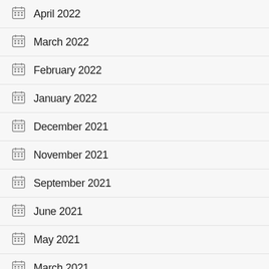April 2022
March 2022
February 2022
January 2022
December 2021
November 2021
September 2021
June 2021
May 2021
March 2021